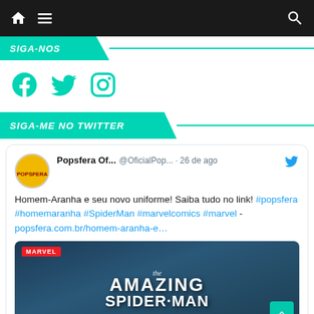Navigation bar with home, menu, and search icons
SIGA-NOS
[Figure (other): Social media icons: Facebook, Twitter, Instagram in teal color]
SIGA-ME NO TWITTER
Popsfera Of... @OficialPop... · 26 de ago
Homem-Aranha e seu novo uniforme! Saiba tudo no link! #popsfera #homemaranha #SpiderMan #marvelcomics #marvel - popsfera.com.br/homem-aranha-e…
[Figure (screenshot): The Amazing Spider-Man comic book cover with Marvel logo and Spider-Man character]